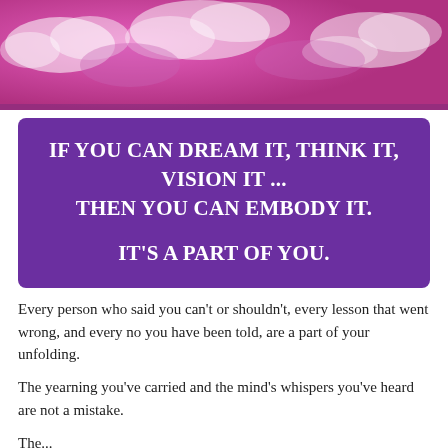[Figure (photo): Pink and white cloudy sky background image at the top of the page]
IF YOU CAN DREAM IT, THINK IT, VISION IT ... THEN YOU CAN EMBODY IT. IT'S A PART OF YOU.
Every person who said you can't or shouldn't, every lesson that went wrong, and every no you have been told, are a part of your unfolding.
The yearning you've carried and the mind's whispers you've heard are not a mistake.
The...